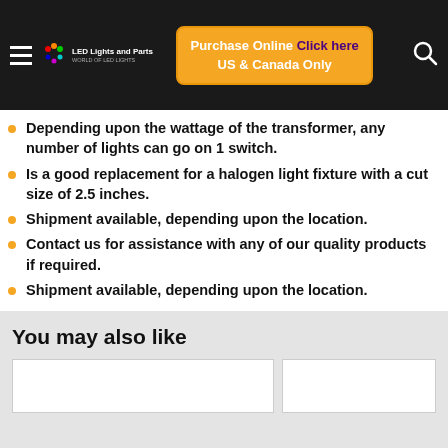LED Lights and Parts — Purchase Online Click here US & Canada Only
Depending upon the wattage of the transformer, any number of lights can go on 1 switch.
Is a good replacement for a halogen light fixture with a cut size of 2.5 inches.
Shipment available, depending upon the location.
Contact us for assistance with any of our quality products if required.
Shipment available, depending upon the location.
You may also like